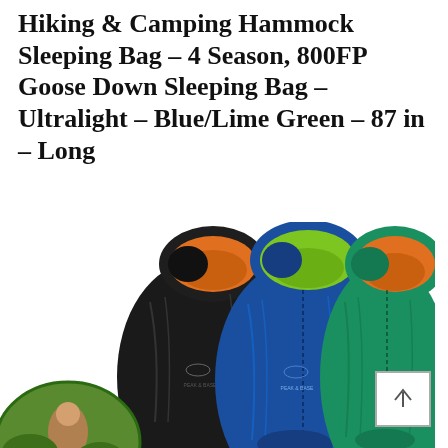Hiking & Camping Hammock Sleeping Bag – 4 Season, 800FP Goose Down Sleeping Bag – Ultralight – Blue/Lime Green – 87 in – Long
[Figure (photo): Three mummy-style sleeping bags side by side: black with orange lining, blue with lime green lining, and teal/green with orange lining. Each has a brand logo on the body. A small circular inset photo at bottom-left shows a person outdoors.]